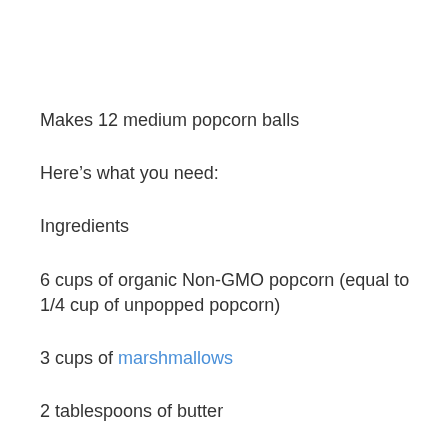Makes 12 medium popcorn balls
Here's what you need:
Ingredients
6 cups of organic Non-GMO popcorn (equal to 1/4 cup of unpopped popcorn)
3 cups of marshmallows
2 tablespoons of butter
1/2 teaspoon of sea salt